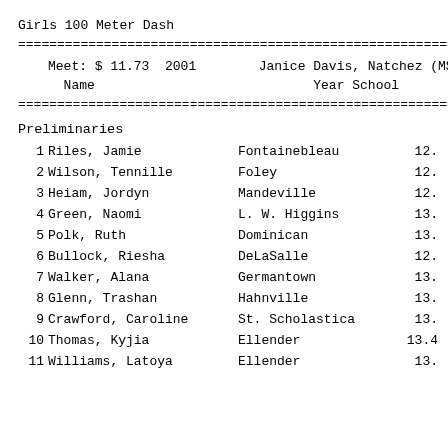Girls 100 Meter Dash
|  | Name | Year | School | Prelim |
| --- | --- | --- | --- | --- |
|  | Meet: $ 11.73  2001 |  | Janice Davis, Natchez (MS) |  |
| 1 | Riles, Jamie |  | Fontainebleau | 12. |
| 2 | Wilson, Tennille |  | Foley | 12. |
| 3 | Heiam, Jordyn |  | Mandeville | 12. |
| 4 | Green, Naomi |  | L. W. Higgins | 13. |
| 5 | Polk, Ruth |  | Dominican | 13. |
| 6 | Bullock, Riesha |  | DeLaSalle | 12. |
| 7 | Walker, Alana |  | Germantown | 13. |
| 8 | Glenn, Trashan |  | Hahnville | 13. |
| 9 | Crawford, Caroline |  | St. Scholastica | 13. |
| 10 | Thomas, Kyjia |  | Ellender | 13.4 |
| 11 | Williams, Latoya |  | Ellender | 13. |